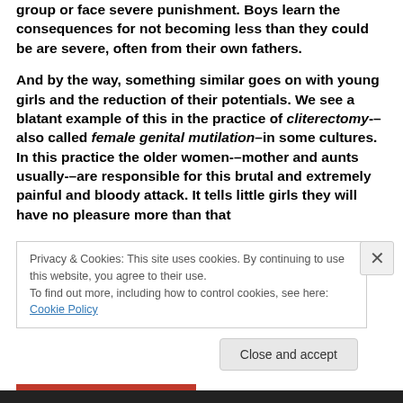group or face severe punishment. Boys learn the consequences for not becoming less than they could be are severe, often from their own fathers.
And by the way, something similar goes on with young girls and the reduction of their potentials. We see a blatant example of this in the practice of cliterectomy-–also called female genital mutilation–in some cultures. In this practice the older women-–mother and aunts usually-–are responsible for this brutal and extremely painful and bloody attack. It tells little girls they will have no pleasure more than that
Privacy & Cookies: This site uses cookies. By continuing to use this website, you agree to their use.
To find out more, including how to control cookies, see here: Cookie Policy
Close and accept